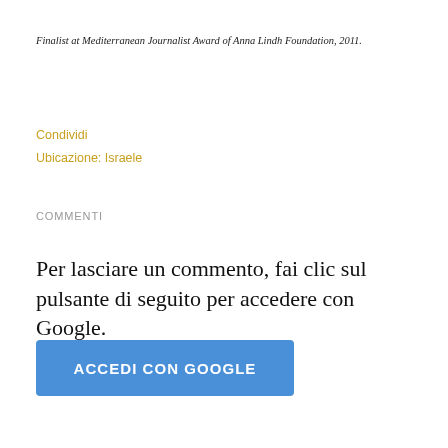Finalist at Mediterranean Journalist Award of Anna Lindh Foundation, 2011.
Condividi
Ubicazione: Israele
COMMENTI
Per lasciare un commento, fai clic sul pulsante di seguito per accedere con Google.
[Figure (other): Blue button labeled ACCEDI CON GOOGLE]